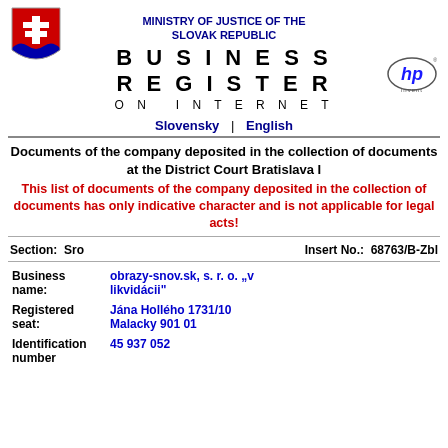MINISTRY OF JUSTICE OF THE SLOVAK REPUBLIC
BUSINESS REGISTER ON INTERNET
[Figure (logo): Slovak coat of arms: red shield with white double cross on blue hills]
[Figure (logo): HP (Hewlett-Packard) logo with 'hp' in oval and 'invent' text below]
Slovensky | English
Documents of the company deposited in the collection of documents at the District Court Bratislava I
This list of documents of the company deposited in the collection of documents has only indicative character and is not applicable for legal acts!
Section:  Sro     Insert No.:  68763/B-Zbl
| Field | Value |
| --- | --- |
| Business name: | obrazy-snov.sk, s. r. o. „v likvidácii" |
| Registered seat: | Jána Hollého 1731/10
Malacky 901 01 |
| Identification number | 45 937 052 |